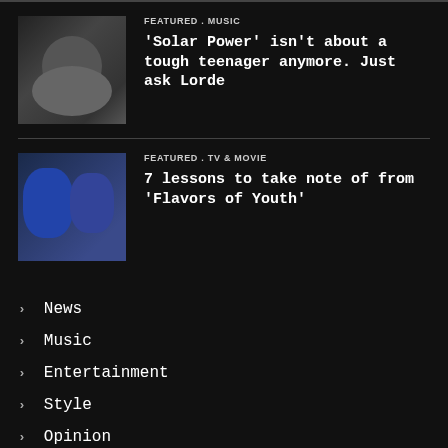Featured . Music
'Solar Power' isn't about a tough teenager anymore. Just ask Lorde
Featured . TV & Movie
7 lessons to take note of from 'Flavors of Youth'
News
Music
Entertainment
Style
Opinion
Culture
Scout Events